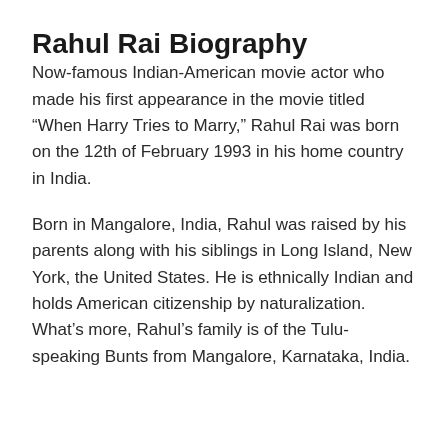Rahul Rai Biography
Now-famous Indian-American movie actor who made his first appearance in the movie titled “When Harry Tries to Marry,” Rahul Rai was born on the 12th of February 1993 in his home country in India.
Born in Mangalore, India, Rahul was raised by his parents along with his siblings in Long Island, New York, the United States. He is ethnically Indian and holds American citizenship by naturalization. What’s more, Rahul’s family is of the Tulu-speaking Bunts from Mangalore, Karnataka, India.